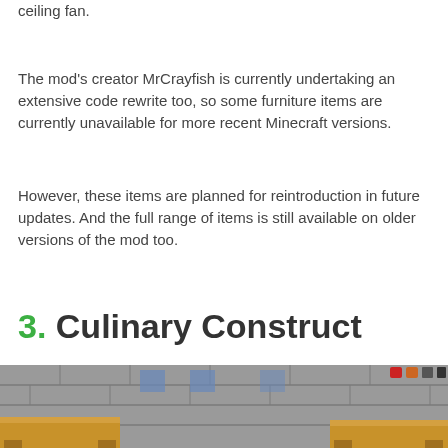ceiling fan.
The mod’s creator MrCrayfish is currently undertaking an extensive code rewrite too, so some furniture items are currently unavailable for more recent Minecraft versions.
However, these items are planned for reintroduction in future updates. And the full range of items is still available on older versions of the mod too.
3. Culinary Construct
[Figure (screenshot): A Minecraft screenshot showing wooden crafting tables and stone-brick interiors, with a game HUD visible in the top right corner.]